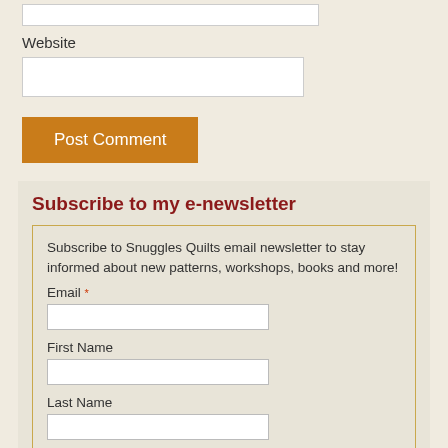Website
Post Comment
Subscribe to my e-newsletter
Subscribe to Snuggles Quilts email newsletter to stay informed about new patterns, workshops, books and more!
Email *
First Name
Last Name
Sign up